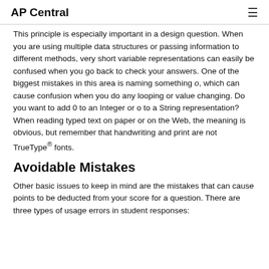AP Central
This principle is especially important in a design question. When you are using multiple data structures or passing information to different methods, very short variable representations can easily be confused when you go back to check your answers. One of the biggest mistakes in this area is naming something o, which can cause confusion when you do any looping or value changing. Do you want to add 0 to an Integer or o to a String representation? When reading typed text on paper or on the Web, the meaning is obvious, but remember that handwriting and print are not TrueType® fonts.
Avoidable Mistakes
Other basic issues to keep in mind are the mistakes that can cause points to be deducted from your score for a question. There are three types of usage errors in student responses: